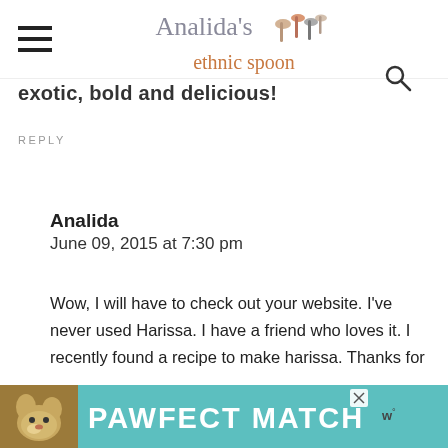Analida's ethnic spoon
exotic, bold and delicious!
REPLY
Analida
June 09, 2015 at 7:30 pm
Wow, I will have to check out your website. I've never used Harissa. I have a friend who loves it. I recently found a recipe to make harissa. Thanks for
[Figure (screenshot): PAWFECT MATCH advertisement banner with dog image and teal background]